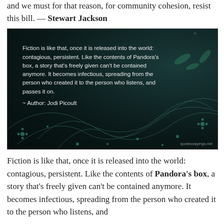and we must for that reason, for community cohesion, resist this bill. — Stewart Jackson
[Figure (photo): Dark teal floral background image with white text quote: 'Fiction is like that, once it is released into the world: contagious, persistent. Like the contents of Pandora's box, a story that's freely given can't be contained anymore. It becomes infectious, spreading from the person who created it to the person who listens, and passes it on. ~ Author: Jodi Picoult' with watermark quotessayings.net]
Fiction is like that, once it is released into the world: contagious, persistent. Like the contents of Pandora's box, a story that's freely given can't be contained anymore. It becomes infectious, spreading from the person who created it to the person who listens, and